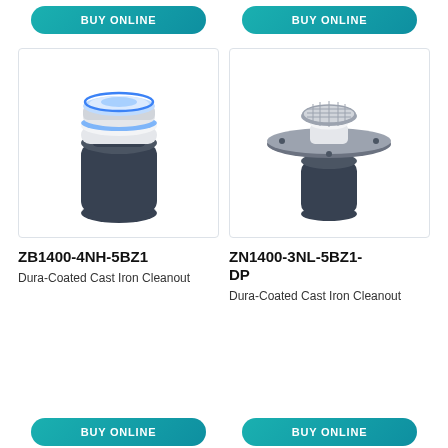[Figure (other): BUY ONLINE button (top left), teal rounded rectangle]
[Figure (other): BUY ONLINE button (top right), teal rounded rectangle]
[Figure (photo): ZB1400-4NH-5BZ1 Dura-Coated Cast Iron Cleanout product photo: dark cylindrical body with white ring and blue-accented cap]
[Figure (photo): ZN1400-3NL-5BZ1-DP Dura-Coated Cast Iron Cleanout product photo: dark cylindrical body with wide flat flange and round stainless grate]
ZB1400-4NH-5BZ1
Dura-Coated Cast Iron Cleanout
ZN1400-3NL-5BZ1-DP
Dura-Coated Cast Iron Cleanout
[Figure (other): BUY ONLINE button (bottom left, partially visible), teal rounded rectangle]
[Figure (other): BUY ONLINE button (bottom right, partially visible), teal rounded rectangle]